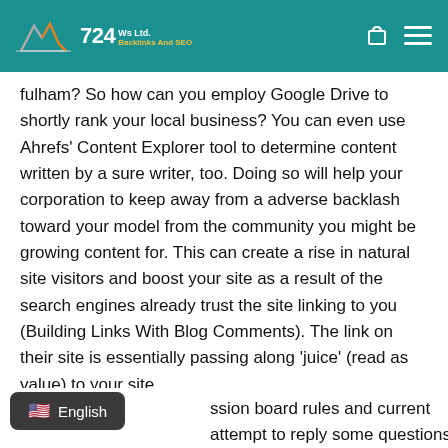724 Ws Ltd — SEO Service Provider Ltd | Backlinks And SEO
fulham? So how can you employ Google Drive to shortly rank your local business? You can even use Ahrefs' Content Explorer tool to determine content written by a sure writer, too. Doing so will help your corporation to keep away from a adverse backlash toward your model from the community you might be growing content for. This can create a rise in natural site visitors and boost your site as a result of the search engines already trust the site linking to you (Building Links With Blog Comments). The link on their site is essentially passing along 'juice' (read as value) to your site.
ssion board rules and current attempt to reply some questions